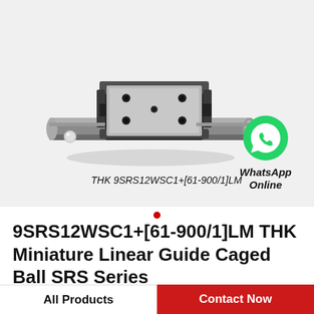[Figure (photo): THK miniature linear guide caged ball SRS series component – a metallic rail block assembly shown in 3D perspective view, with label 'THK 9SRS12WSC1+[61-900/1]LM' below it, and a WhatsApp icon with text 'WhatsApp Online' to the right]
9SRS12WSC1+[61-900/1]LM THK Miniature Linear Guide Caged Ball SRS Series
All Products | Contact Now